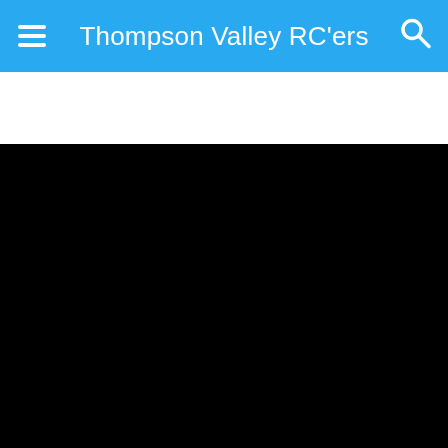Thompson Valley RC'ers
[Figure (photo): Black rectangular area representing a video or image placeholder below the navigation header]